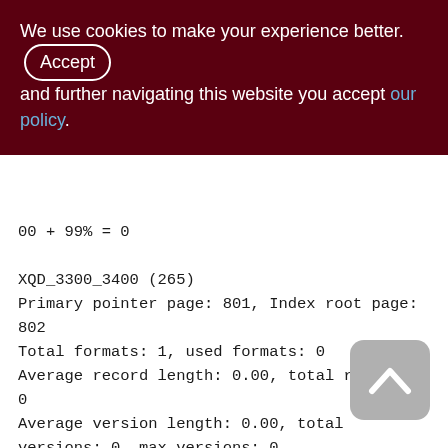We use cookies to make your experience better. By Accepting and further navigating this website you accept our policy.
00 + 99% = 0

XQD_3300_3400 (265)
Primary pointer page: 801, Index root page: 802
Total formats: 1, used formats: 0
Average record length: 0.00, total records: 0
Average version length: 0.00, total versions: 0, max versions: 0
Average fragment length: 0.00, total fragments: 0, max fragments: 0
Average unpacked length: 0.00, compression